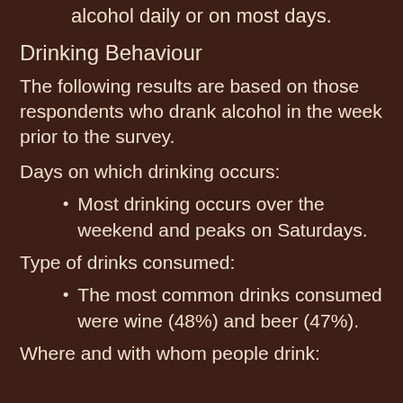alcohol daily or on most days.
Drinking Behaviour
The following results are based on those respondents who drank alcohol in the week prior to the survey.
Days on which drinking occurs:
Most drinking occurs over the weekend and peaks on Saturdays.
Type of drinks consumed:
The most common drinks consumed were wine (48%) and beer (47%).
Where and with whom people drink: